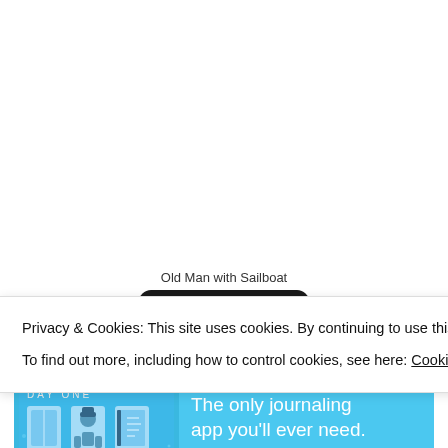Old Man with Sailboat
[Figure (logo): SunFrog logo — orange and yellow circular icon with SunFrog text on black rounded rectangle button]
Advertisements
[Figure (other): Day One app advertisement banner — blue background with text 'The only journaling app you'll ever need.' and Day One app icon illustrations]
Privacy & Cookies: This site uses cookies. By continuing to use this website, you agree to their use.
To find out more, including how to control cookies, see here: Cookie Policy
Close and accept